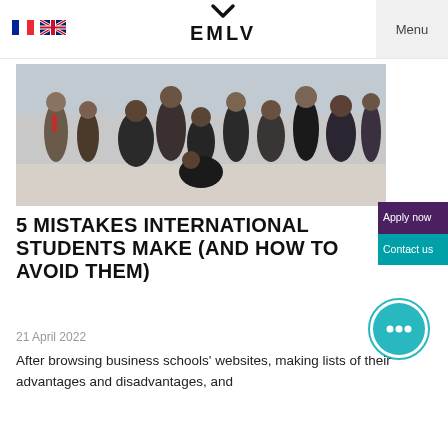EMLV
[Figure (photo): Group of diverse students celebrating and posing together in a bright indoor space with a glass ceiling]
5 MISTAKES INTERNATIONAL STUDENTS MAKE (AND HOW TO AVOID THEM)
21 April 2022
After browsing business schools' websites, making lists of their advantages and disadvantages, and